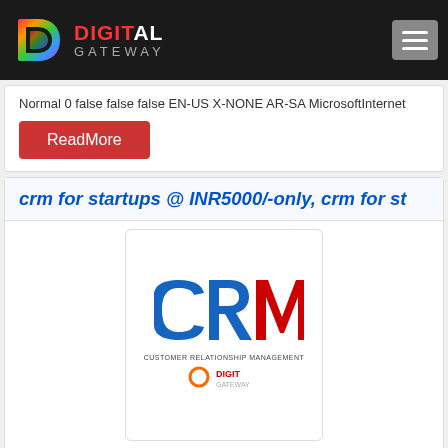Digital Gateway
Normal 0 false false false EN-US X-NONE AR-SA MicrosoftInternet
ReadMore
crm for startups @ INR5000/-only, crm for st
[Figure (logo): CRM Customer Relationship Management logo with Digital Gateway branding below]
CRM Systems help start-ups in earning betterThe five words you ar work: somebody will trade cash for your item. All things considered, get the item out the entryway and get somebody to really pay for it,